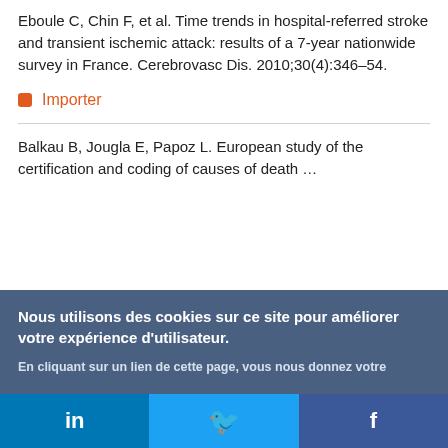Eboule C, Chin F, et al. Time trends in hospital-referred stroke and transient ischemic attack: results of a 7-year nationwide survey in France. Cerebrovasc Dis. 2010;30(4):346–54.
Importer
Balkau B, Jougla E, Papoz L. European study of the…
Nous utilisons des cookies sur ce site pour améliorer votre expérience d'utilisateur.

En cliquant sur un lien de cette page, vous nous donnez votre consentement de définir des cookies.
Oui, je suis d'accord
Plus d'infos